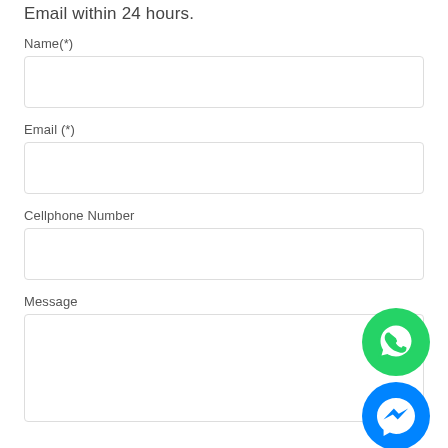Email within 24 hours.
Name(*)
Email (*)
Cellphone Number
Message
[Figure (logo): WhatsApp green circular icon button]
[Figure (logo): Facebook Messenger blue circular icon button]